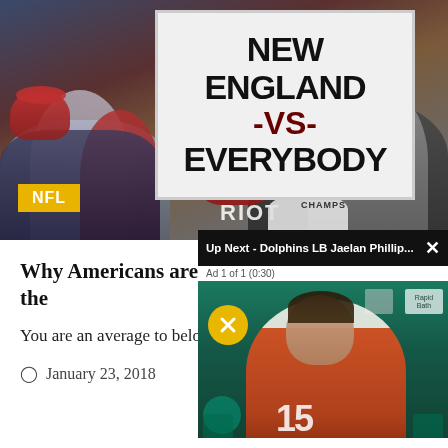[Figure (photo): Sports fans in a stadium crowd holding a sign that reads 'NEW ENGLAND -VS- EVERYBODY' with an NFL badge overlay]
Why Americans are so Unpatriotic Towards the
You are an average to below average kid in high school.
January 23, 2018
[Figure (screenshot): Video popup overlay reading 'Up Next - Dolphins LB Jaelan Phillip...' with Ad 1 of 1 (0:30), mute button, and video thumbnail showing a player in an orange jersey at a press conference with Miami Dolphins branding]